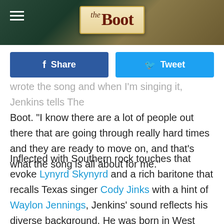the Boot
wrote the song and when I'm singing it, Jenkins tells The Boot. "I know there are a lot of people out there that are going through really hard times and they are ready to move on, and that's what the song is all about for me."
Inflected with Southern rock touches that evoke Lynyrd Skynyrd and a rich baritone that recalls Texas singer Cody Jinks with a hint of Waylon Jennings, Jenkins' sound reflects his diverse background. He was born in West Virginia, but raised in Alaska, and he joined the United States Marine